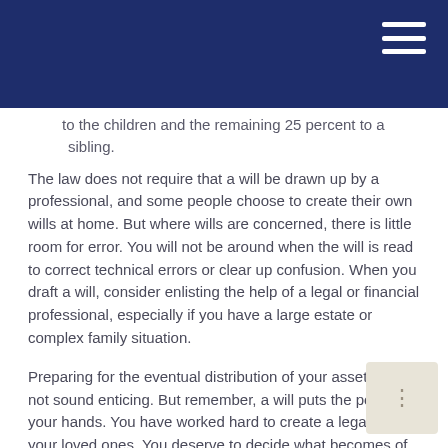to the children and the remaining 25 percent to a sibling.
The law does not require that a will be drawn up by a professional, and some people choose to create their own wills at home. But where wills are concerned, there is little room for error. You will not be around when the will is read to correct technical errors or clear up confusion. When you draft a will, consider enlisting the help of a legal or financial professional, especially if you have a large estate or complex family situation.
Preparing for the eventual distribution of your assets may not sound enticing. But remember, a will puts the power in your hands. You have worked hard to create a legacy for your loved ones. You deserve to decide what becomes of it.